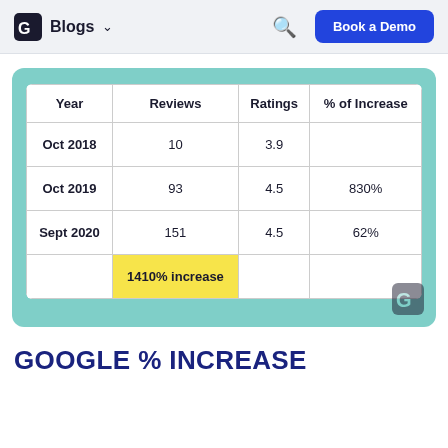Blogs  Book a Demo
| Year | Reviews | Ratings | % of Increase |
| --- | --- | --- | --- |
| Oct 2018 | 10 | 3.9 |  |
| Oct 2019 | 93 | 4.5 | 830% |
| Sept 2020 | 151 | 4.5 | 62% |
|  | 1410% increase |  |  |
GOOGLE % INCREASE